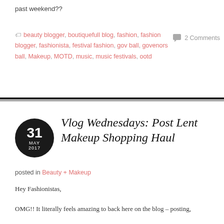past weekend??
🏷 beauty blogger, boutiquefull blog, fashion, fashion blogger, fashionista, festival fashion, gov ball, govenors ball, Makeup, MOTD, music, music festivals, ootd
💬 2 Comments
Vlog Wednesdays: Post Lent Makeup Shopping Haul
posted in Beauty + Makeup
Hey Fashionistas,
OMG!! It literally feels amazing to back here on the blog – posting,